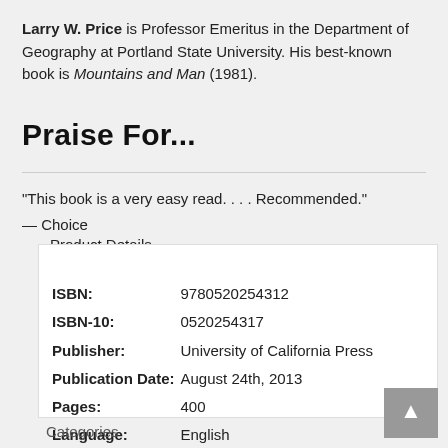Larry W. Price is Professor Emeritus in the Department of Geography at Portland State University. His best-known book is Mountains and Man (1981).
Praise For...
"This book is a very easy read. . . . Recommended."
— Choice
Product Details
| Field | Value |
| --- | --- |
| ISBN: | 9780520254312 |
| ISBN-10: | 0520254317 |
| Publisher: | University of California Press |
| Publication Date: | August 24th, 2013 |
| Pages: | 400 |
| Language: | English |
Categories